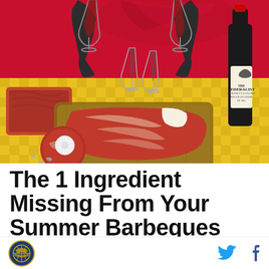[Figure (illustration): Collage-style illustration showing a summer barbecue scene: red background with yellow checkered tablecloth, two hands toasting with red wine glasses, a raw steak on a wooden cutting board, a round piece of meat with a price tag, scattered pills/bullets, and a bottle of The Federalist Cabernet Sauvignon wine on the right side.]
The 1 Ingredient Missing From Your Summer Barbeques
Logo icon | Twitter icon | Facebook icon